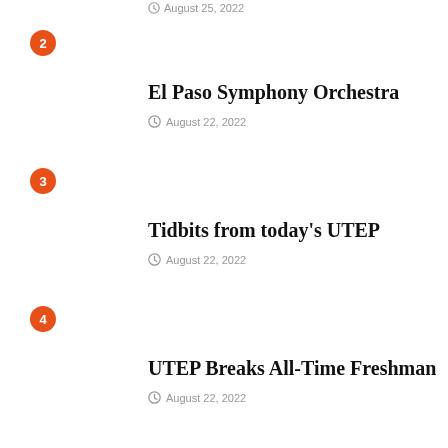August 25, 2022
2 — El Paso Symphony Orchestra — August 22, 2022
3 — Tidbits from today's UTEP — August 22, 2022
4 — UTEP Breaks All-Time Freshman — August 22, 2022